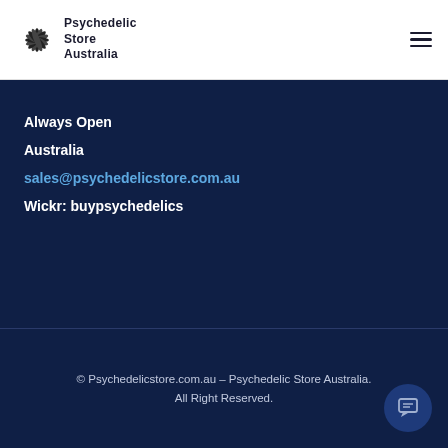Psychedelic Store Australia
Always Open
Australia
sales@psychedelicstore.com.au
Wickr: buypsychedelics
© Psychedelicstore.com.au - Psychedelic Store Australia. All Right Reserved.